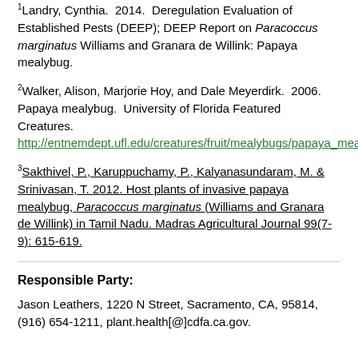1Landry, Cynthia. 2014. Deregulation Evaluation of Established Pests (DEEP); DEEP Report on Paracoccus marginatus Williams and Granara de Willink: Papaya mealybug.
2Walker, Alison, Marjorie Hoy, and Dale Meyerdirk. 2006. Papaya mealybug. University of Florida Featured Creatures. http://entnemdept.ufl.edu/creatures/fruit/mealybugs/papaya_mealybug.htm
3Sakthivel, P., Karuppuchamy, P., Kalyanasundaram, M. & Srinivasan, T. 2012. Host plants of invasive papaya mealybug, Paracoccus marginatus (Williams and Granara de Willink) in Tamil Nadu. Madras Agricultural Journal 99(7-9): 615-619.
Responsible Party:
Jason Leathers, 1220 N Street, Sacramento, CA, 95814, (916) 654-1211, plant.health[@]cdfa.ca.gov.